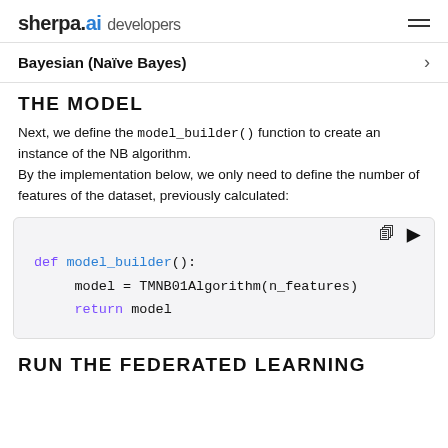sherpa.ai developers
Bayesian (Naïve Bayes)
THE MODEL
Next, we define the model_builder() function to create an instance of the NB algorithm.
By the implementation below, we only need to define the number of features of the dataset, previously calculated:
[Figure (screenshot): Code block showing Python function: def model_builder(): model = TMNB01Algorithm(n_features) return model]
RUN THE FEDERATED LEARNING